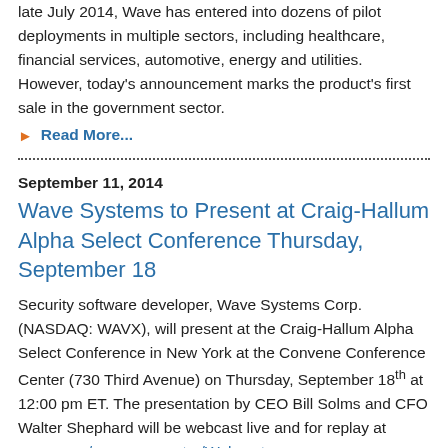late July 2014, Wave has entered into dozens of pilot deployments in multiple sectors, including healthcare, financial services, automotive, energy and utilities. However, today's announcement marks the product's first sale in the government sector.
Read More...
September 11, 2014
Wave Systems to Present at Craig-Hallum Alpha Select Conference Thursday, September 18
Security software developer, Wave Systems Corp. (NASDAQ: WAVX), will present at the Craig-Hallum Alpha Select Conference in New York at the Convene Conference Center (730 Third Avenue) on Thursday, September 18th at 12:00 pm ET. The presentation by CEO Bill Solms and CFO Walter Shephard will be webcast live and for replay at wave.com/resource-center/Webcasts.
About Craig-Hallum / Alpha Select List (craig-hallum.com)
Read More...